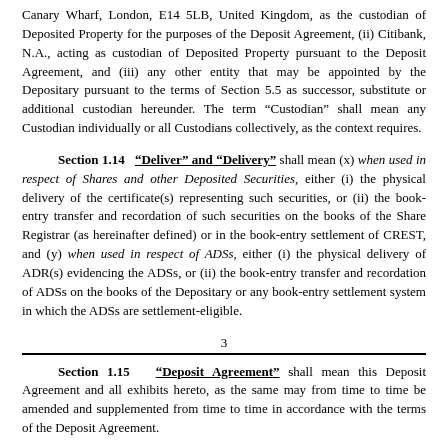Canary Wharf, London, E14 5LB, United Kingdom, as the custodian of Deposited Property for the purposes of the Deposit Agreement, (ii) Citibank, N.A., acting as custodian of Deposited Property pursuant to the Deposit Agreement, and (iii) any other entity that may be appointed by the Depositary pursuant to the terms of Section 5.5 as successor, substitute or additional custodian hereunder. The term “Custodian” shall mean any Custodian individually or all Custodians collectively, as the context requires.
Section 1.14 “Deliver” and “Delivery” shall mean (x) when used in respect of Shares and other Deposited Securities, either (i) the physical delivery of the certificate(s) representing such securities, or (ii) the book-entry transfer and recordation of such securities on the books of the Share Registrar (as hereinafter defined) or in the book-entry settlement of CREST, and (y) when used in respect of ADSs, either (i) the physical delivery of ADR(s) evidencing the ADSs, or (ii) the book-entry transfer and recordation of ADSs on the books of the Depositary or any book-entry settlement system in which the ADSs are settlement-eligible.
3
Section 1.15 “Deposit Agreement” shall mean this Deposit Agreement and all exhibits hereto, as the same may from time to time be amended and supplemented from time to time in accordance with the terms of the Deposit Agreement.
Section 1.16 “Depositary” shall mean Citibank, N.A., a national banking association organized under the laws of the United States, in its capacity